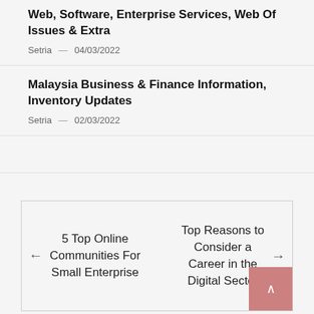Web, Software, Enterprise Services, Web Of Issues & Extra
Setria — 04/03/2022
Malaysia Business & Finance Information, Inventory Updates
Setria — 02/03/2022
← 5 Top Online Communities For Small Enterprise
Top Reasons to Consider a Career in the Digital Sector →